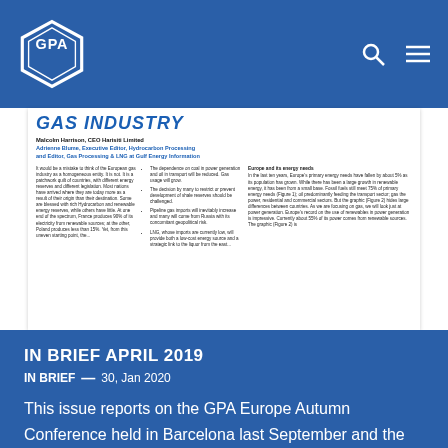[Figure (logo): GPA hexagonal logo in white on blue navigation bar with search and menu icons]
[Figure (screenshot): Document preview showing article titled GAS INDUSTRY by Malcolm Harrison and Adrienne Blume with three columns of text]
IN BRIEF APRIL 2019
IN BRIEF — 30, Jan 2020
This issue reports on the GPA Europe Autumn Conference held in Barcelona last September and the AGM held in London in